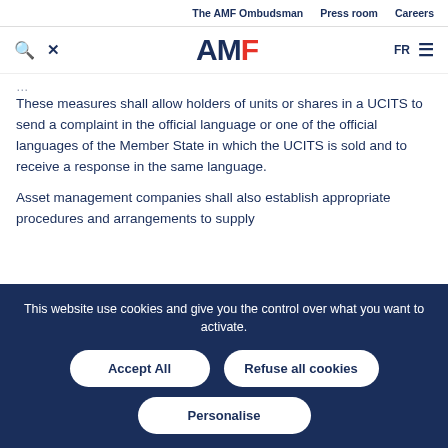The AMF Ombudsman   Press room   Careers
[Figure (logo): AMF logo with search and close icons on left, FR language selector and hamburger menu on right]
These measures shall allow holders of units or shares in a UCITS to send a complaint in the official language or one of the official languages of the Member State in which the UCITS is sold and to receive a response in the same language.
Asset management companies shall also establish appropriate procedures and arrangements to supply
This website use cookies and give you the control over what you want to activate.
Accept All
Refuse all cookies
Personalise